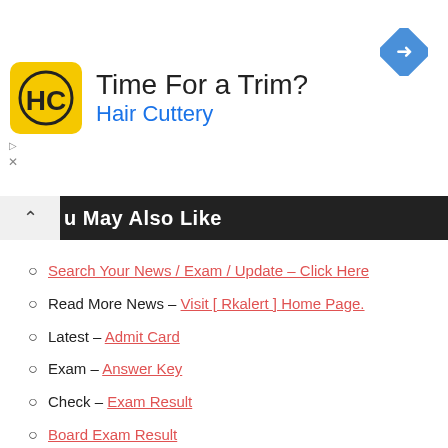[Figure (other): Advertisement banner for Hair Cuttery with logo, headline 'Time For a Trim?', subtext 'Hair Cuttery', and a blue direction sign icon]
You May Also Like
Search Your News / Exam / Update – Click Here
Read More News – Visit [ Rkalert ] Home Page.
Latest – Admit Card
Exam – Answer Key
Check – Exam Result
Board Exam Result
Top Hindi News Today
Follow On Facebook
Join Facebook Group
Follow On Twitter
Subscribe On Youtube
Follow On Instagram